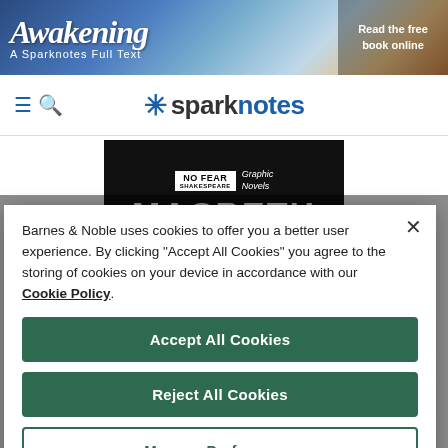[Figure (screenshot): Banner for 'The Awakening: A Sparknotes Full Text' with colorful background and 'Read the free book online' button on the right]
[Figure (logo): SparkNotes logo with hamburger/search navigation icons on the left]
[Figure (screenshot): No Fear Shakespeare Graphic Novels - Macbeth promotional image with dark background]
Barnes & Noble uses cookies to offer you a better user experience. By clicking "Accept All Cookies" you agree to the storing of cookies on your device in accordance with our Cookie Policy.
Accept All Cookies
Reject All Cookies
Manage Preferences